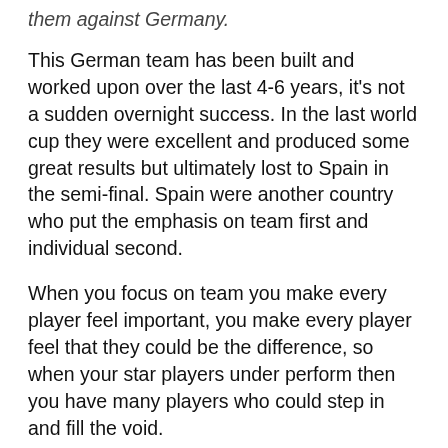them against Germany.
This German team has been built and worked upon over the last 4-6 years, it's not a sudden overnight success. In the last world cup they were excellent and produced some great results but ultimately lost to Spain in the semi-final. Spain were another country who put the emphasis on team first and individual second.
When you focus on team you make every player feel important, you make every player feel that they could be the difference, so when your star players under perform then you have many players who could step in and fill the void.
In this World Cup 8 German players scored goals, of whom 6 scored 2 or more goals, compared to 4 scoring players from Argentina, of whom only Messi scored more than 1 goal, and 5 scoring players for Brazil, for whom only 1 scored more than 1 goal.